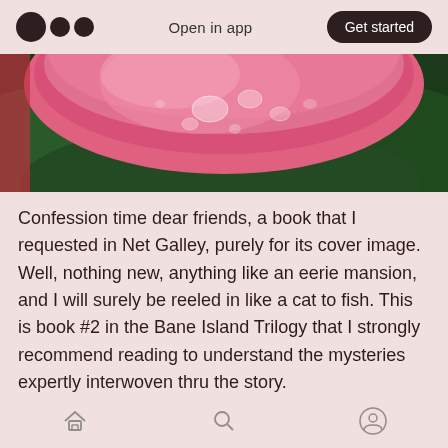Open in app  Get started
[Figure (photo): Close-up photo of a pink flower with water droplets on petals, resting on dark green leaves]
Confession time dear friends, a book that I requested in Net Galley, purely for its cover image. Well, nothing new, anything like an eerie mansion, and I will surely be reeled in like a cat to fish. This is book #2 in the Bane Island Trilogy that I strongly recommend reading to understand the mysteries expertly interwoven thru the story.

Each book has a different couple in focus but the
Home  Search  Profile